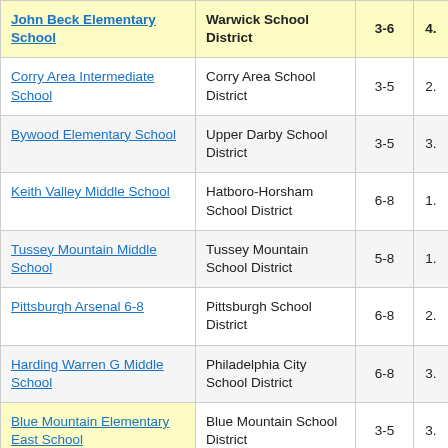| School | District | Grades | Score |
| --- | --- | --- | --- |
| John Beck Elementary School | Warwick School District | 3-6 | 4. |
| Corry Area Intermediate School | Corry Area School District | 3-5 | 2. |
| Bywood Elementary School | Upper Darby School District | 3-5 | 3. |
| Keith Valley Middle School | Hatboro-Horsham School District | 6-8 | 1. |
| Tussey Mountain Middle School | Tussey Mountain School District | 5-8 | 1. |
| Pittsburgh Arsenal 6-8 | Pittsburgh School District | 6-8 | 2. |
| Harding Warren G Middle School | Philadelphia City School District | 6-8 | 3. |
| Blue Mountain Elementary East School | Blue Mountain School District | 3-5 | 3. |